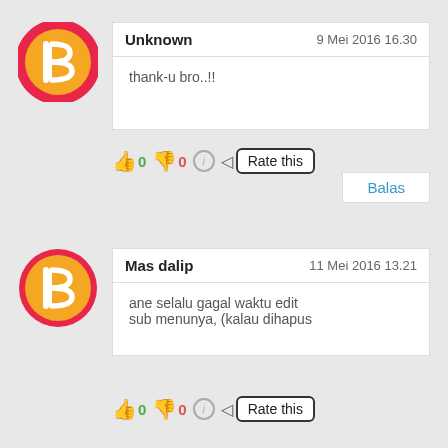[Figure (logo): Blogger avatar icon - orange circle with pink/red border and white B letter]
Unknown   9 Mei 2016 16.30
thank-u bro..!!
👍 0 👎 0 ℹ ◁ Rate this
Balas
[Figure (logo): Blogger avatar icon - orange circle with pink/red border and white B letter]
Mas dalip   11 Mei 2016 13.21
ane selalu gagal waktu edit sub menunya, (kalau dihapus
👍 0 👎 0 ℹ ◁ Rate this